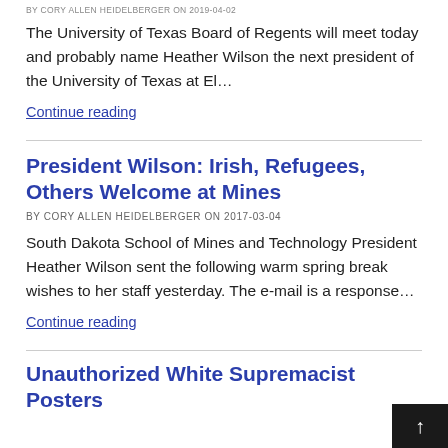BY CORY ALLEN HEIDELBERGER ON 2019-04-02
The University of Texas Board of Regents will meet today and probably name Heather Wilson the next president of the University of Texas at El…
Continue reading
President Wilson: Irish, Refugees, Others Welcome at Mines
BY CORY ALLEN HEIDELBERGER ON 2017-03-04
South Dakota School of Mines and Technology President Heather Wilson sent the following warm spring break wishes to her staff yesterday. The e-mail is a response…
Continue reading
Unauthorized White Supremacist Posters